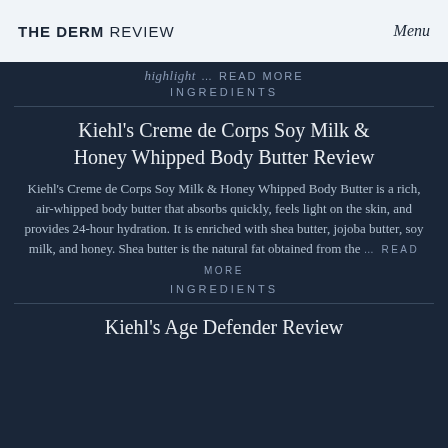THE DERM REVIEW | Menu
highlight … READ MORE INGREDIENTS
Kiehl's Creme de Corps Soy Milk & Honey Whipped Body Butter Review
Kiehl's Creme de Corps Soy Milk & Honey Whipped Body Butter is a rich, air-whipped body butter that absorbs quickly, feels light on the skin, and provides 24-hour hydration. It is enriched with shea butter, jojoba butter, soy milk, and honey. Shea butter is the natural fat obtained from the … READ MORE INGREDIENTS
Kiehl's Age Defender Review